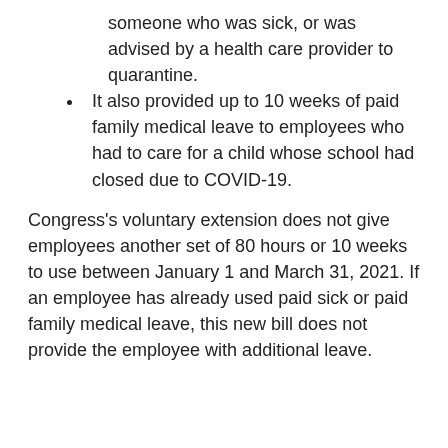someone who was sick, or was advised by a health care provider to quarantine.
It also provided up to 10 weeks of paid family medical leave to employees who had to care for a child whose school had closed due to COVID-19.
Congress’s voluntary extension does not give employees another set of 80 hours or 10 weeks to use between January 1 and March 31, 2021. If an employee has already used paid sick or paid family medical leave, this new bill does not provide the employee with additional leave.